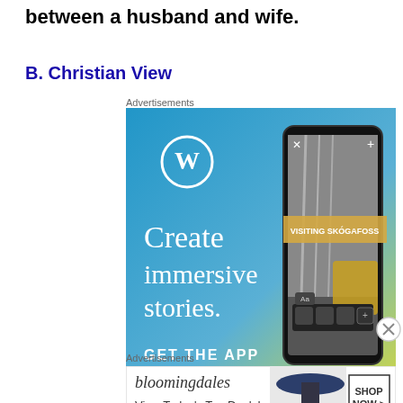between a husband and wife.
B. Christian View
[Figure (screenshot): WordPress advertisement showing 'Create immersive stories. GET THE APP' with phone displaying waterfall photo and 'VISITING SKÓGAFOSS' banner. WordPress logo visible.]
[Figure (screenshot): Bloomingdales advertisement showing 'bloomingdales View Today's Top Deals!' with woman in large hat and 'SHOP NOW >' button]